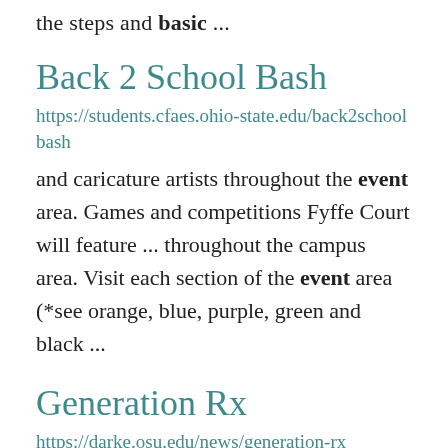the steps and basic ...
Back 2 School Bash
https://students.cfaes.ohio-state.edu/back2schoolbash
and caricature artists throughout the event area. Games and competitions Fyffe Court will feature ... throughout the campus area. Visit each section of the event area (*see orange, blue, purple, green and black ...
Generation Rx
https://darke.osu.edu/news/generation-rx
health problems, with adverse drug events being a significant issue for older adults?